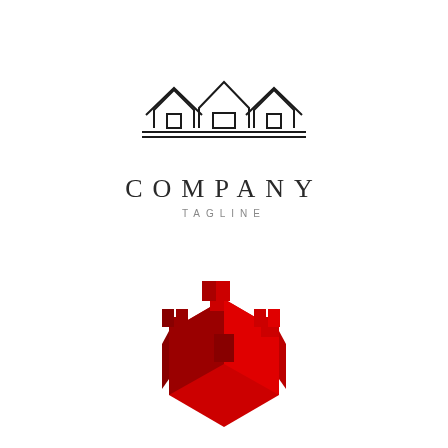[Figure (logo): Real estate company logo: outline drawing of three houses (two smaller flanking a larger central house) above two horizontal lines, with the text COMPANY and TAGLINE below]
[Figure (logo): Red 3D castle/fortress shield logo in red and dark red shades, partially cut off at bottom of page]